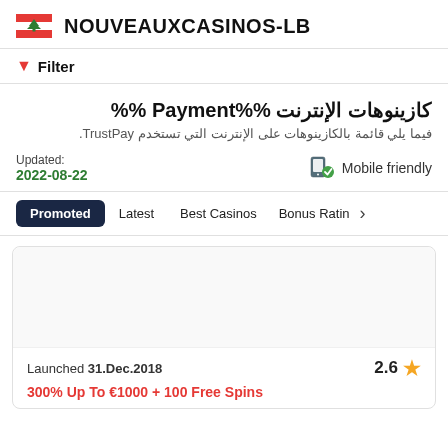NOUVEAUXCASINOS-LB
Filter
كازينوهات الإنترنت Payment%% ‎%%
فيما يلي قائمة بالكازينوهات على الإنترنت التي تستخدم TrustPay.
Updated: 2022-08-22
Mobile friendly
Promoted  Latest  Best Casinos  Bonus Rating
Launched 31.Dec.2018  2.6
300% Up To €1000 + 100 Free Spins